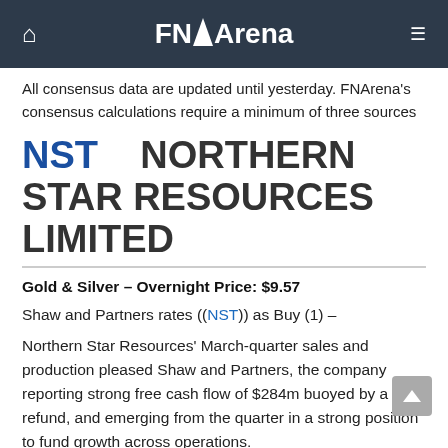FNArena
All consensus data are updated until yesterday. FNArena's consensus calculations require a minimum of three sources
NST   NORTHERN STAR RESOURCES LIMITED
Gold & Silver – Overnight Price: $9.57
Shaw and Partners rates ((NST)) as Buy (1) –
Northern Star Resources' March-quarter sales and production pleased Shaw and Partners, the company reporting strong free cash flow of $284m buoyed by a tax refund, and emerging from the quarter in a strong position to fund growth across operations.
Overall guidance was reiterated but cost guidance rose.
Buy rating and $12.80 target price retained